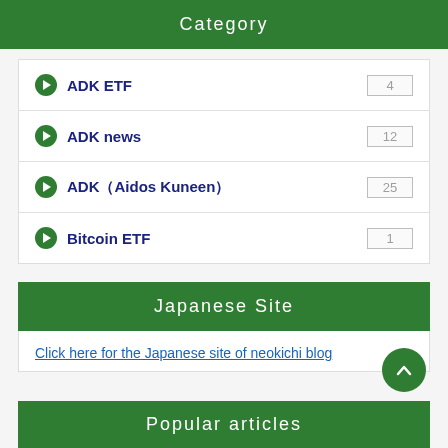Category
ADK ETF 4
ADK news 12
ADK（Aidos Kuneen） 25
Bitcoin ETF 1
Japanese Site
Click here for the Japanese site of neokichi blog
Popular articles